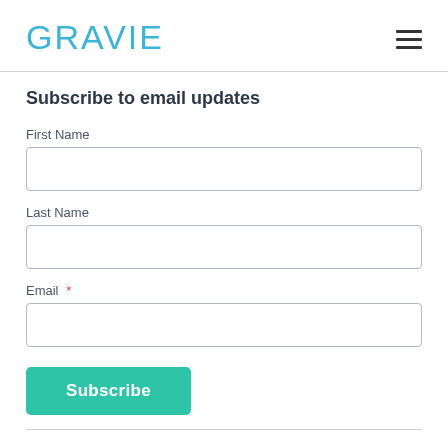GRAVIE
Subscribe to email updates
First Name
Last Name
Email *
Subscribe
More Posts